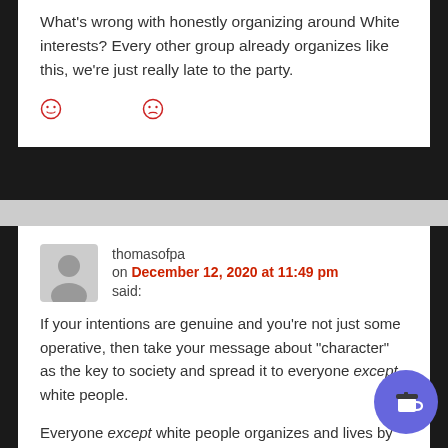What's wrong with honestly organizing around White interests? Every other group already organizes like this, we're just really late to the party.
[Figure (illustration): Smiley and frowning face emoji reaction icons in red]
thomasofpa on December 12, 2020 at 11:49 pm said:
If your intentions are genuine and you're not just some operative, then take your message about "character" as the key to society and spread it to everyone except white people.
Everyone except white people organizes and lives by race and ethnicity, and